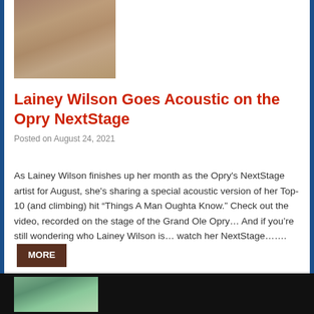[Figure (photo): Photo of Lainey Wilson, a woman with long blonde hair wearing a hat and colorful outfit]
Lainey Wilson Goes Acoustic on the Opry NextStage
Posted on August 24, 2021
As Lainey Wilson finishes up her month as the Opry's NextStage artist for August, she's sharing a special acoustic version of her Top-10 (and climbing) hit “Things A Man Oughta Know.” Check out the video, recorded on the stage of the Grand Ole Opry… And if you’re still wondering who Lainey Wilson is… watch her NextStage…….
[Figure (photo): Partial photo visible at bottom of page, appears to show a landscape or outdoor scene]